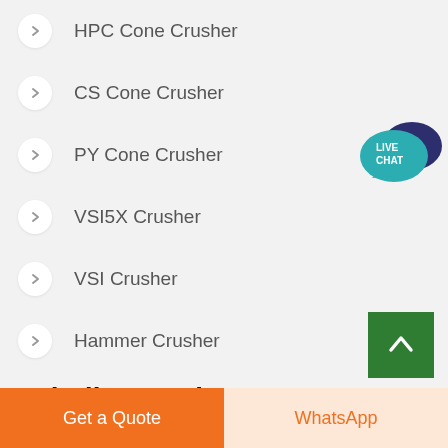HPC Cone Crusher
CS Cone Crusher
PY Cone Crusher
VSI5X Crusher
VSI Crusher
Hammer Crusher
Grinding Equipment
LM Vertical Grinding Mills
[Figure (other): Live Chat speech bubble icon in teal and dark blue]
[Figure (other): Green scroll-to-top button with white upward arrow]
Get a Quote
WhatsApp